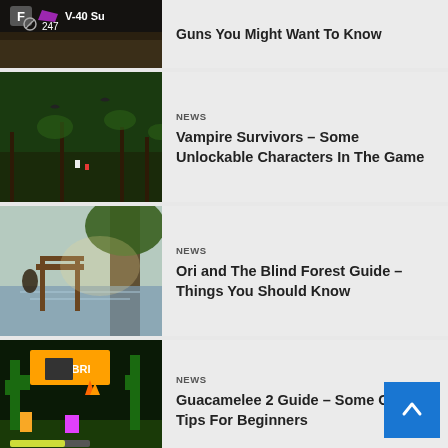[Figure (screenshot): Partial gaming screenshot showing F V-40 Su weapon HUD and 247 ammo counter on dark background]
Guns You Might Want To Know
[Figure (screenshot): Vampire Survivors pixelated top-down game screenshot with green forest background and characters]
NEWS
Vampire Survivors – Some Unlockable Characters In The Game
[Figure (screenshot): Ori and the Blind Forest game screenshot showing scenic forest with water reflection and wooden gate]
NEWS
Ori and The Blind Forest Guide – Things You Should Know
[Figure (screenshot): Guacamelee 2 colorful side-scrolling game screenshot with ALEBRI text and characters]
NEWS
Guacamelee 2 Guide – Some Good Tips For Beginners